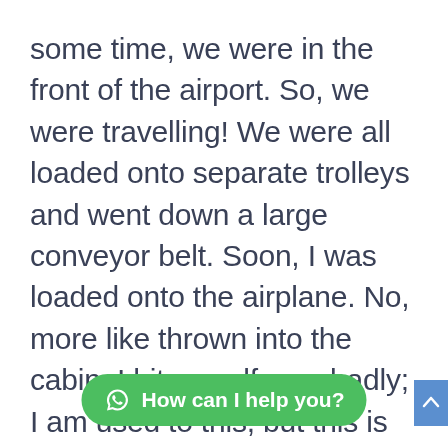some time, we were in the front of the airport. So, we were travelling! We were all loaded onto separate trolleys and went down a large conveyor belt. Soon, I was loaded onto the airplane. No, more like thrown into the cabin. I hit myself very badly; I am used to this, but this is the part I hate the most. In the cabin, I met many other bags of other owners. They all were going to different and interesting places.